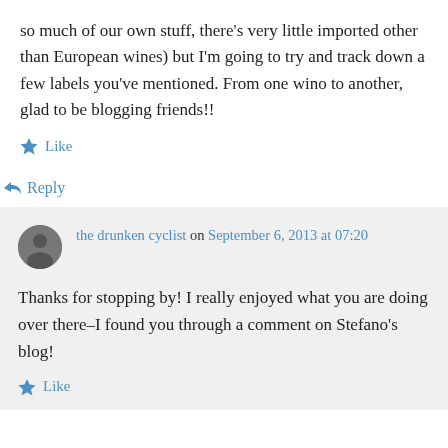so much of our own stuff, there's very little imported other than European wines) but I'm going to try and track down a few labels you've mentioned. From one wino to another, glad to be blogging friends!!
★ Like
↪ Reply
the drunken cyclist on September 6, 2013 at 07:20
Thanks for stopping by! I really enjoyed what you are doing over there–I found you through a comment on Stefano's blog!
★ Like